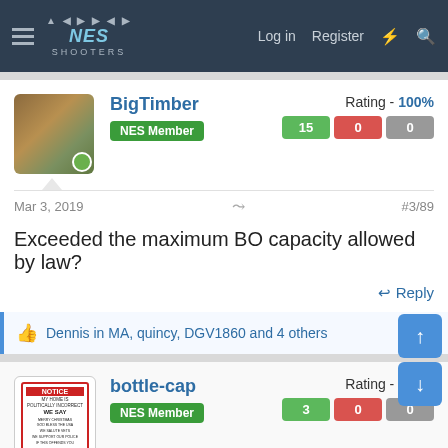NES SHOOTERS — Log in  Register
BigTimber — NES Member — Rating - 100% — 15 / 0 / 0
Mar 3, 2019  #3/89
Exceeded the maximum BO capacity allowed by law?
Reply
Dennis in MA, quincy, DGV1860 and 4 others
bottle-cap — NES Member — Rating - 100% — 3 / 0 / 0
Mar 3, 2019  #4/89
Woodsy said: